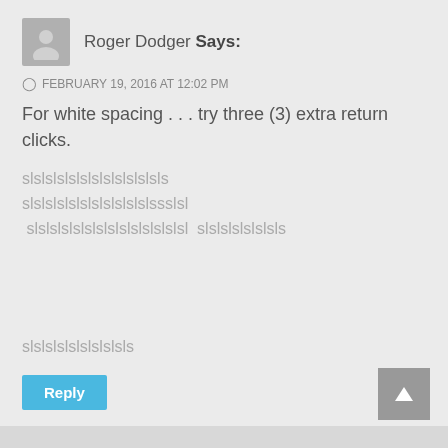Roger Dodger Says:
FEBRUARY 19, 2016 AT 12:02 PM
For white spacing . . . try three (3) extra return clicks.
slslslslslslslslslslslsls slslslslslslslslslslslssslsl slslslslslslslslslslslslslsl  slslslslslslsls
slslslslslslslslsls
Reply